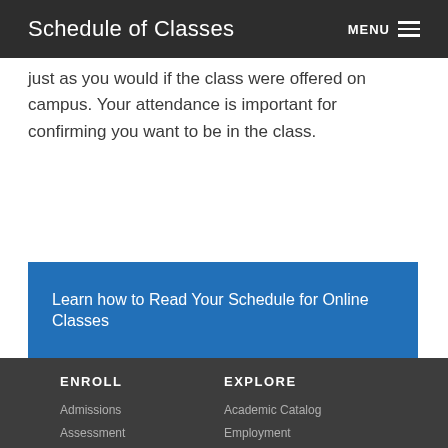Schedule of Classes  MENU
just as you would if the class were offered on campus. Your attendance is important for confirming you want to be in the class.
Learn how to Read Your Schedule for Online Classes
ENROLL
Admissions
Assessment
Counseling
Financial Aid
School of Continuing
EXPLORE
Academic Catalog
Employment
Finding Events
Library
Schedule of Classes